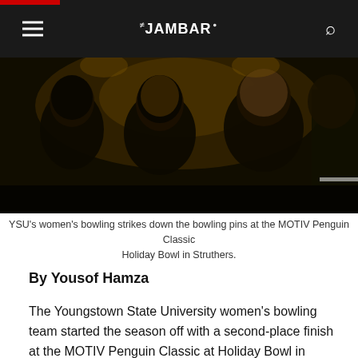THE JAMBAR
[Figure (photo): YSU women's bowling team members seen from behind, wearing dark uniforms, at a bowling alley.]
YSU's women's bowling strikes down the bowling pins at the MOTIV Penguin Classic Holiday Bowl in Struthers.
By Yousof Hamza
The Youngstown State University women's bowling team started the season off with a second-place finish at the MOTIV Penguin Classic at Holiday Bowl in Struthers.
This tournament consisted of five Baker's matches